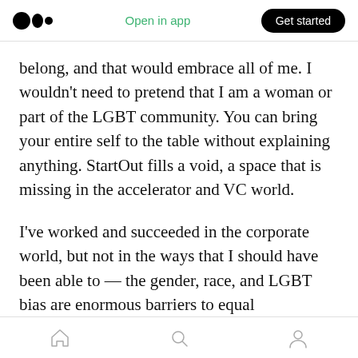Medium app header with logo, Open in app, Get started button
belong, and that would embrace all of me. I wouldn’t need to pretend that I am a woman or part of the LGBT community. You can bring your entire self to the table without explaining anything. StartOut fills a void, a space that is missing in the accelerator and VC world.
I’ve worked and succeeded in the corporate world, but not in the ways that I should have been able to — the gender, race, and LGBT bias are enormous barriers to equal opportunities for success. So in StartOut, I see mentors and
Bottom navigation bar with home, search, and profile icons